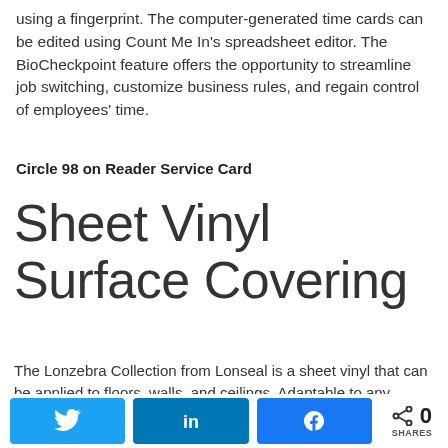using a fingerprint. The computer-generated time cards can be edited using Count Me In's spreadsheet editor. The BioCheckpoint feature offers the opportunity to streamline job switching, customize business rules, and regain control of employees' time.
Circle 98 on Reader Service Card
Sheet Vinyl Surface Covering
The Lonzebra Collection from Lonseal is a sheet vinyl that can be applied to floors, walls, and ceilings. Adaptable to any environment or space, this resilient
[Figure (infographic): Social sharing buttons: Twitter, LinkedIn, Facebook, and a share icon with 0 SHARES count]